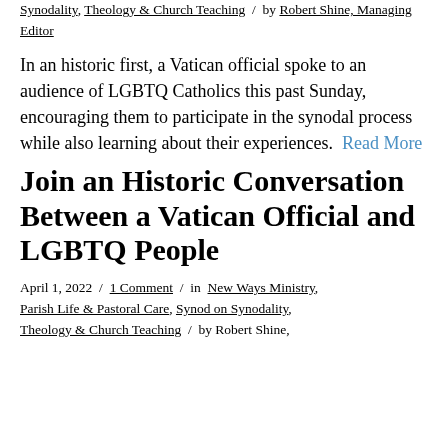Synodality, Theology & Church Teaching / by Robert Shine, Managing Editor
In an historic first, a Vatican official spoke to an audience of LGBTQ Catholics this past Sunday, encouraging them to participate in the synodal process while also learning about their experiences. Read More
Join an Historic Conversation Between a Vatican Official and LGBTQ People
April 1, 2022 / 1 Comment / in New Ways Ministry, Parish Life & Pastoral Care, Synod on Synodality, Theology & Church Teaching / by Robert Shine,